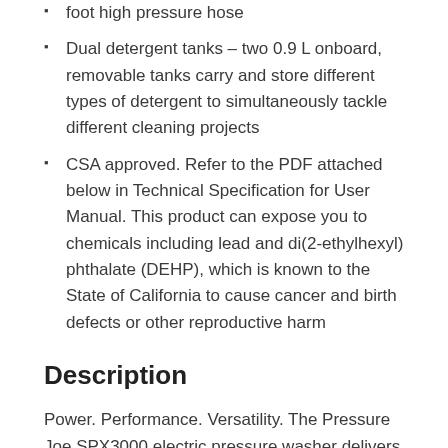foot high pressure hose
Dual detergent tanks – two 0.9 L onboard, removable tanks carry and store different types of detergent to simultaneously tackle different cleaning projects
CSA approved. Refer to the PDF attached below in Technical Specification for User Manual. This product can expose you to chemicals including lead and di(2-ethylhexyl) phthalate (DEHP), which is known to the State of California to cause cancer and birth defects or other reproductive harm
Description
Power. Performance. Versatility. The Pressure Joe SPX3000 electric pressure washer delivers it all to tackle a variety of cleaning tasks: homes, buildings, RV's, cars, trucks, boats, decks, driveways, patios, lawn equipment and more. Packed with an 1800-Watt/14.5-amp motor, the